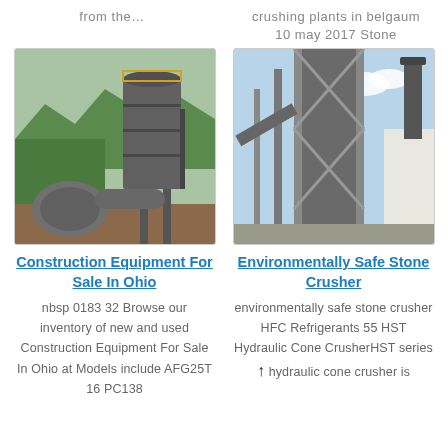from the…
crushing plants in belgaum
10 may 2017 Stone
[Figure (photo): Industrial grinding/crushing plant with large cylindrical silo, pipes, and surrounding greenery and mountains]
[Figure (photo): Industrial stone crusher tower structure with steel framework and chimney against blue sky]
Construction Equipment For Sale In Ohio
Environmentally Safe Stone Crusher
nbsp 0183 32 Browse our inventory of new and used Construction Equipment For Sale In Ohio at Models include AFG25T 16 PC138
environmentally safe stone crusher HFC Refrigerants 55 HST Hydraulic Cone CrusherHST series hydraulic cone crusher is